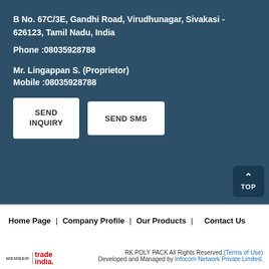B No. 67C/3E, Gandhi Road, Virudhunagar, Sivakasi - 626123, Tamil Nadu, India
Phone :08035928788
Mr. Lingappan S. (Proprietor)
Mobile :08035928788
[Figure (other): SEND INQUIRY button and SEND SMS button on dark blue background]
[Figure (other): TOP scroll button with upward arrow]
Home Page | Company Profile | Our Products | Contact Us
RK POLY PACK All Rights Reserved.(Terms of Use) Developed and Managed by Infocom Network Private Limited.
[Figure (logo): MEMBER trade india. logo]